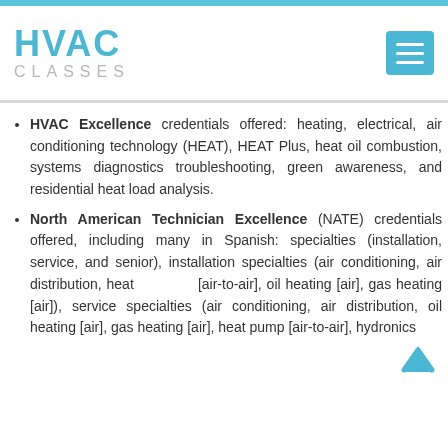[Figure (logo): HVAC Classes logo with blue text and hamburger menu icon]
HVAC Excellence credentials offered: heating, electrical, air conditioning technology (HEAT), HEAT Plus, heat oil combustion, systems diagnostics troubleshooting, green awareness, and residential heat load analysis.
North American Technician Excellence (NATE) credentials offered, including many in Spanish: specialties (installation, service, and senior), installation specialties (air conditioning, air distribution, heat [air-to-air], oil heating [air], gas heating [air]), service specialties (air conditioning, air distribution, oil heating [air], gas heating [air], heat pump [air-to-air], hydronics